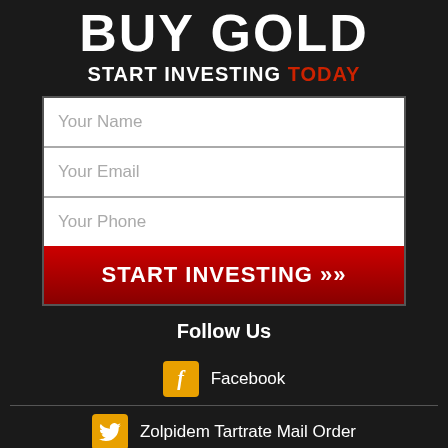BUY GOLD
START INVESTING TODAY
[Figure (infographic): Lead capture form with fields for Your Name, Your Email, Your Phone, and a START INVESTING button]
Follow Us
Facebook
Zolpidem Tartrate Mail Order
Linkedin